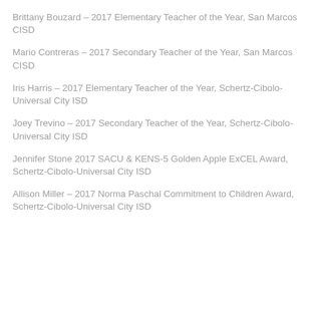Brittany Bouzard – 2017 Elementary Teacher of the Year, San Marcos CISD
Mario Contreras – 2017 Secondary Teacher of the Year, San Marcos CISD
Iris Harris – 2017 Elementary Teacher of the Year, Schertz-Cibolo-Universal City ISD
Joey Trevino – 2017 Secondary Teacher of the Year, Schertz-Cibolo-Universal City ISD
Jennifer Stone 2017 SACU & KENS-5 Golden Apple ExCEL Award, Schertz-Cibolo-Universal City ISD
Allison Miller – 2017 Norma Paschal Commitment to Children Award, Schertz-Cibolo-Universal City ISD